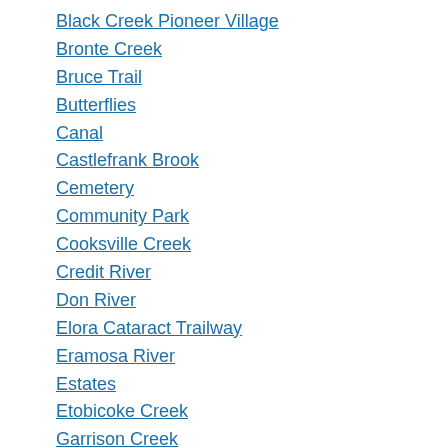Black Creek Pioneer Village
Bronte Creek
Bruce Trail
Butterflies
Canal
Castlefrank Brook
Cemetery
Community Park
Cooksville Creek
Credit River
Don River
Elora Cataract Trailway
Eramosa River
Estates
Etobicoke Creek
Garrison Creek
Ghost Town
High Park
Highland Creek